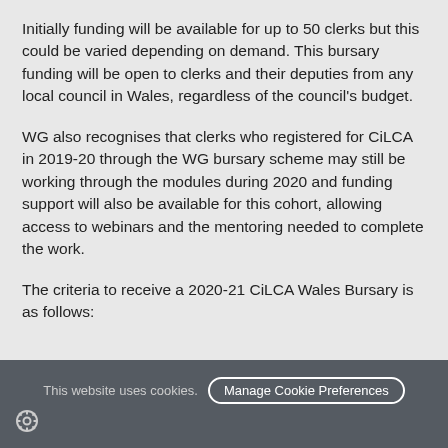Initially funding will be available for up to 50 clerks but this could be varied depending on demand. This bursary funding will be open to clerks and their deputies from any local council in Wales, regardless of the council's budget.
WG also recognises that clerks who registered for CiLCA in 2019-20 through the WG bursary scheme may still be working through the modules during 2020 and funding support will also be available for this cohort, allowing access to webinars and the mentoring needed to complete the work.
The criteria to receive a 2020-21 CiLCA Wales Bursary is as follows:
This website uses cookies. Manage Cookie Preferences